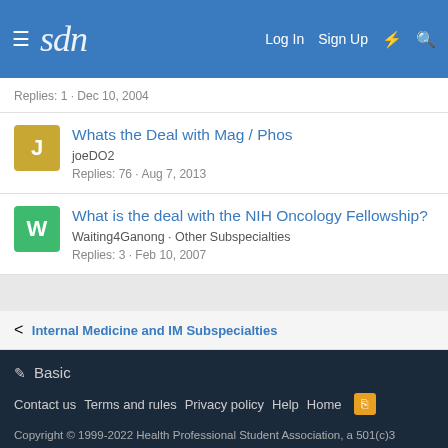sdn  Log In  Sign Up
Replies: 1 · Dec 10, 2004
Whats the Deal with Mag / Phos
joeDO2
Replies: 76 · Aug 7, 2013
What is the deal with the NIH Oncology Fellowship?
Waiting4Ganong · Other Subspecialties
Replies: 3 · Feb 10, 2007
< Internal Medicine and IM Subspecialties
Basic
Contact us  Terms and rules  Privacy policy  Help  Home
Copyright © 1999-2022 Health Professional Student Association, a 501(c)3 nonprofit organization. All resources are student and donor supported. | SDN is HON Certified